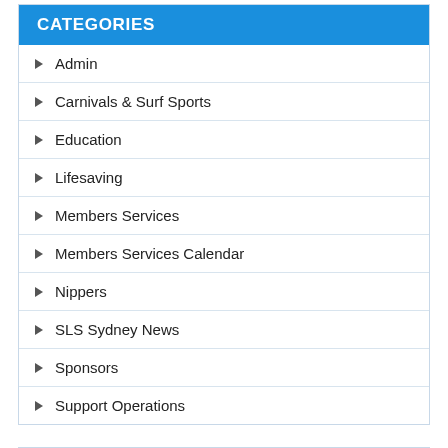CATEGORIES
Admin
Carnivals & Surf Sports
Education
Lifesaving
Members Services
Members Services Calendar
Nippers
SLS Sydney News
Sponsors
Support Operations
RECENT POSTS
ALBERT Program scheduled November 2022